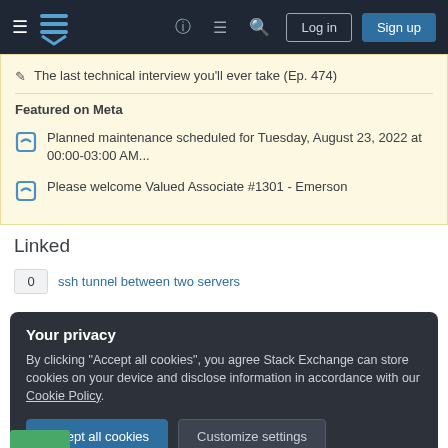Stack Exchange navigation bar with Log in and Sign up buttons
The last technical interview you'll ever take (Ep. 474)
Featured on Meta
Planned maintenance scheduled for Tuesday, August 23, 2022 at 00:00-03:00 AM...
Please welcome Valued Associate #1301 - Emerson
Linked
0  ssh tunnel between two servers
Your privacy
By clicking "Accept all cookies", you agree Stack Exchange can store cookies on your device and disclose information in accordance with our Cookie Policy.